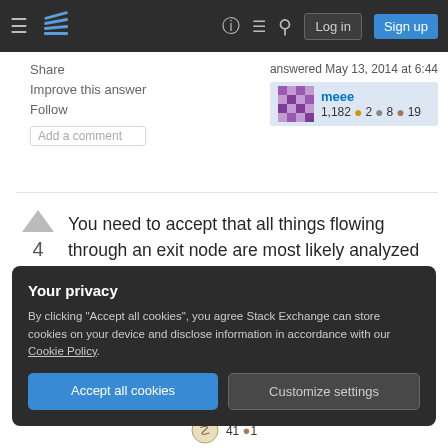Stack Exchange navigation bar with hamburger, logo, help, chat, search, Log in, Sign up
Share  Improve this answer  Follow  Add a comment
answered May 13, 2014 at 6:44  meee  1,182 ●2 ●8 ●19
You need to accept that all things flowing through an exit node are most likely analyzed by big brother government. Everything you send must keep your anonymity. If you are deploying sensitive information, you need to use encryption.
Your privacy
By clicking "Accept all cookies", you agree Stack Exchange can store cookies on your device and disclose information in accordance with our Cookie Policy.
Accept all cookies   Customize settings
41 ●1